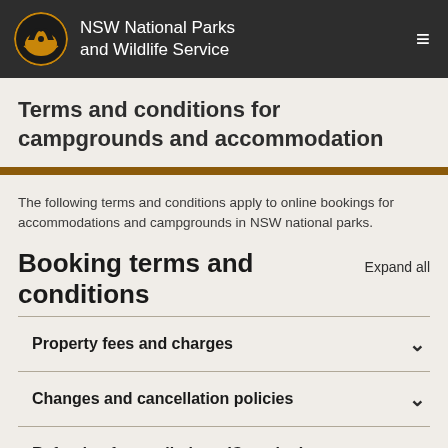NSW National Parks and Wildlife Service
Terms and conditions for campgrounds and accommodation
The following terms and conditions apply to online bookings for accommodations and campgrounds in NSW national parks.
Booking terms and conditions
Property fees and charges
Changes and cancellation policies
Refunds of cancellations (Camping)
Changes and transfer of booking dates